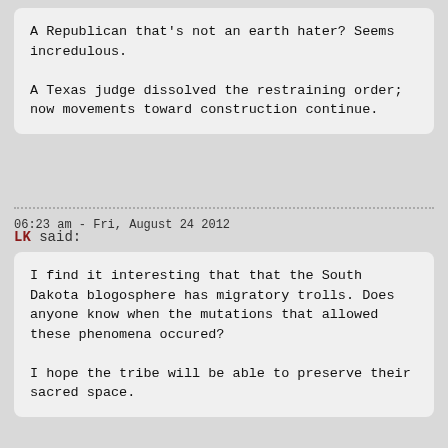A Republican that's not an earth hater? Seems incredulous.

A Texas judge dissolved the restraining order; now movements toward construction continue.
06:23 am - Fri, August 24 2012
LK said:
I find it interesting that that the South Dakota blogosphere has migratory trolls. Does anyone know when the mutations that allowed these phenomena occured?

I hope the tribe will be able to preserve their sacred space.
06:37 am - Fri, August 24 2012
JUlie Gross said:
--The United States Supreme Court in 1980 recognized that the Sioux should be compensated